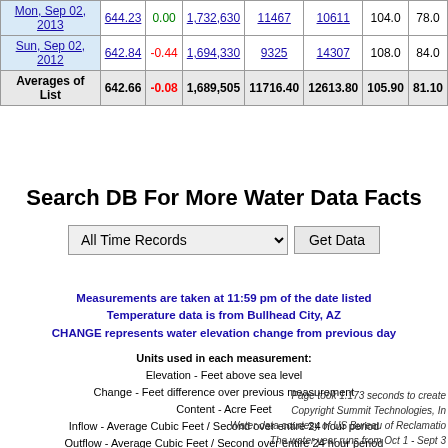| Date | Elevation | Change | Content | Inflow | Outflow | Temp | TP |
| --- | --- | --- | --- | --- | --- | --- | --- |
| Mon, Sep 02, 2013 | 644.23 | 0.00 | 1,732,630 | 11467 | 10611 | 104.0 | 78.0 |
| Sun, Sep 02, 2012 | 642.84 | -0.44 | 1,694,330 | 9325 | 14307 | 108.0 | 84.0 |
| Averages of List | 642.66 | -0.08 | 1,689,505 | 11716.40 | 12613.80 | 105.90 | 81.10 |
Search DB For More Water Data Facts
All Time Records [dropdown] Get Data
Measurements are taken at 11:59 pm of the date listed
Temperature data is from Bullhead City, AZ
CHANGE represents water elevation change from previous day
Units used in each measurement:
Elevation - Feet above sea level
Change - Feet difference over previous measurement
Content - Acre Feet
Inflow - Average Cubic Feet / Second over entire 24 hour period
Outflow - Average Cubic Feet / Second over entire 24 hour period
All Temps - Degrees Farhenheit
The Water Year runs from October 1 to September 30 of the next year
Acre Feet = 1 * Flow CFS
TP = Total Precipitation
Page took 1.173 seconds to create
Copyright Summit Technologies, In
Water data courtesy of US Bureau of Reclamatio
The water year runs from Oct 1 - Sept 3